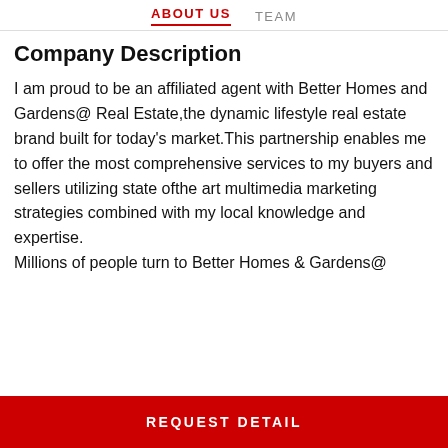ABOUT US   TEAM
Company Description
I am proud to be an affiliated agent with Better Homes and Gardens@ Real Estate,the dynamic lifestyle real estate brand built for today's market.This partnership enables me to offer the most comprehensive services to my buyers and sellers utilizing state ofthe art multimedia marketing strategies combined with my local knowledge and expertise.
Millions of people turn to Better Homes & Gardens@
REQUEST DETAIL